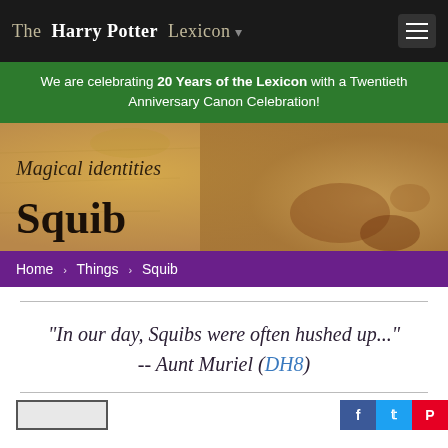The Harry Potter Lexicon
We are celebrating 20 Years of the Lexicon with a Twentieth Anniversary Canon Celebration!
Magical identities
Squib
Home > Things > Squib
"In our day, Squibs were often hushed up..." -- Aunt Muriel (DH8)